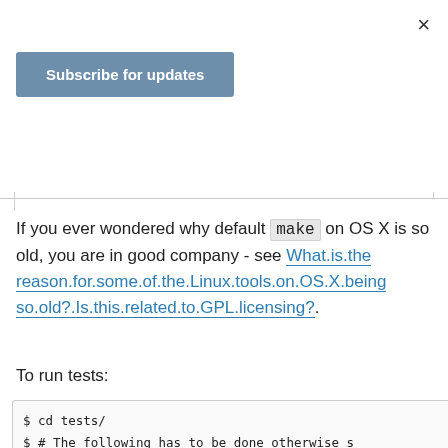[Figure (screenshot): Close button (×) in top right corner of modal dialog]
Subscribe for updates
If you ever wondered why default make on OS X is so old, you are in good company - see What is the reason for some of the Linux tools on OS X being so old? Is this related to GPL licensing?.
To run tests:
$ cd tests/
$ # The following has to be done otherwise s
$ # "Can't locate config-flags.pm in @INC...
$ cp config-flags.pm.in config-flags.pm
$ ./run_make_tests
...
output with lots of errors and finally:
212 Tests in 66 Categories Failed (See .diff